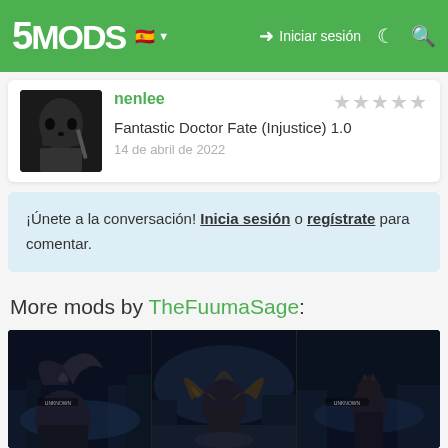5MODS | Iniciar sesión
nenlee
Fantastic Doctor Fate (Injustice) 1.0
14 de abril de 2022
¡Únete a la conversación! Inicia sesión o regístrate para comentar.
More mods by TheFuumaSage:
[Figure (screenshot): Three dark game screenshots showing characters with large dark wing/helmet accessories in a nighttime city environment]